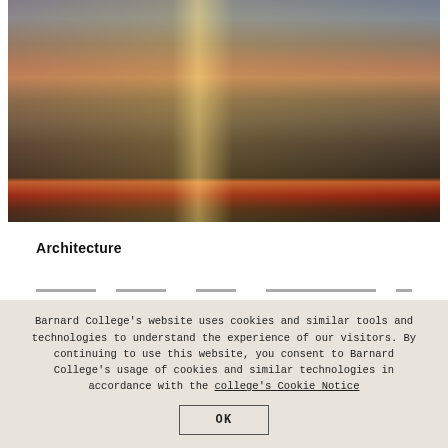[Figure (photo): Exterior night/dusk photo of Barnard College building — a modern brick and glass multi-story structure with warm interior lighting visible through large windows, bare trees in foreground, light trails from passing vehicles on the street below, blue-grey sky in background.]
Architecture
[partial line of body text, clipped by cookie overlay]
Barnard College's website uses cookies and similar tools and technologies to understand the experience of our visitors. By continuing to use this website, you consent to Barnard College's usage of cookies and similar technologies in accordance with the college's Cookie Notice
OK